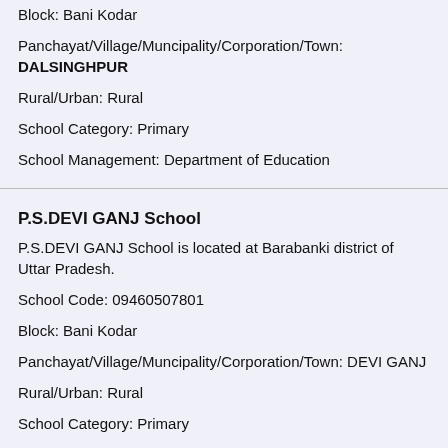Block: Bani Kodar
Panchayat/Village/Muncipality/Corporation/Town: DALSINGHPUR
Rural/Urban: Rural
School Category: Primary
School Management: Department of Education
P.S.DEVI GANJ School
P.S.DEVI GANJ School is located at Barabanki district of Uttar Pradesh.
School Code: 09460507801
Block: Bani Kodar
Panchayat/Village/Muncipality/Corporation/Town: DEVI GANJ
Rural/Urban: Rural
School Category: Primary